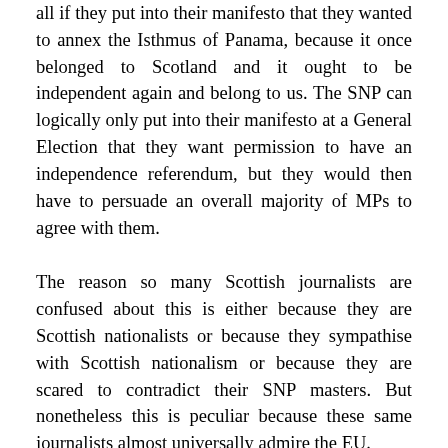all if they put into their manifesto that they wanted to annex the Isthmus of Panama, because it once belonged to Scotland and it ought to be independent again and belong to us. The SNP can logically only put into their manifesto at a General Election that they want permission to have an independence referendum, but they would then have to persuade an overall majority of MPs to agree with them.
The reason so many Scottish journalists are confused about this is either because they are Scottish nationalists or because they sympathise with Scottish nationalism or because they are scared to contradict their SNP masters. But nonetheless this is peculiar because these same journalists almost universally admire the EU.
How many EU member states would allow a legal referendum on independence for one of its parts? Many